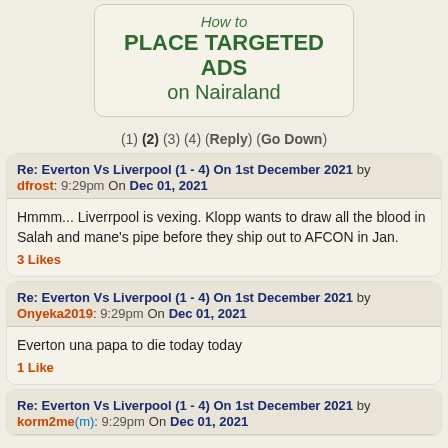[Figure (other): Ad banner: How to PLACE TARGETED ADS on Nairaland]
(1) (2) (3) (4) (Reply) (Go Down)
Re: Everton Vs Liverpool (1 - 4) On 1st December 2021 by dfrost: 9:29pm On Dec 01, 2021
Hmmm... Liverrpool is vexing. Klopp wants to draw all the blood in Salah and mane's pipe before they ship out to AFCON in Jan.
3 Likes
Re: Everton Vs Liverpool (1 - 4) On 1st December 2021 by Onyeka2019: 9:29pm On Dec 01, 2021
Everton una papa to die today today
1 Like
Re: Everton Vs Liverpool (1 - 4) On 1st December 2021 by korm2me(m): 9:29pm On Dec 01, 2021